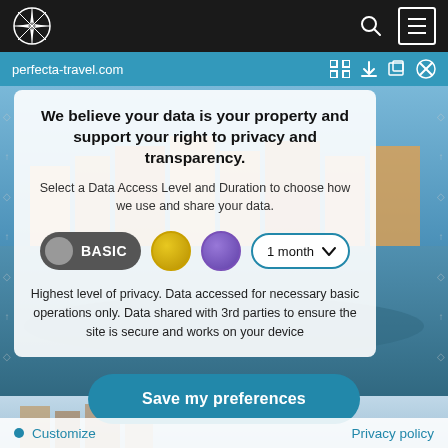[Figure (screenshot): Mobile browser top bar with compass logo, search icon, and hamburger menu on dark background]
perfecta-travel.com
[Figure (photo): Aerial view of a coastal Mediterranean city with orange-roofed buildings and harbor]
We believe your data is your property and support your right to privacy and transparency.
Select a Data Access Level and Duration to choose how we use and share your data.
[Figure (infographic): BASIC toggle switch (dark grey with grey circle), gold dot, purple dot, and 1 month dropdown selector]
Highest level of privacy. Data accessed for necessary basic operations only. Data shared with 3rd parties to ensure the site is secure and works on your device
[Figure (screenshot): Save my preferences button (teal/dark cyan rounded rectangle)]
Save my preferences
Customize
Privacy policy